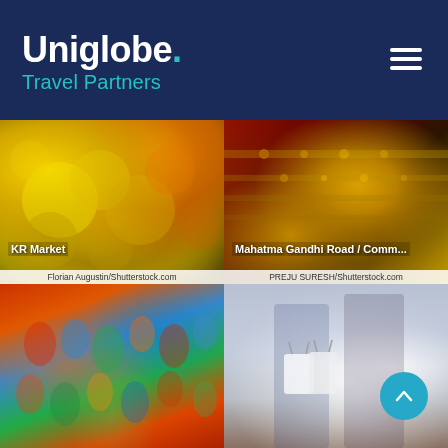Uniglobe. Travel Partners
[Figure (photo): Close-up of yellow marigold flowers at KR Market, Bangalore. Credit: Florian Augustin/Shutterstock.com]
KR Market
[Figure (photo): Display of golden jewelry and accessories at Mahatma Gandhi Road / Comm... Credit: PREJU SURESH/Shutterstock.com]
Mahatma Gandhi Road / Comm...
[Figure (photo): Colorful decorative lanterns and crafts displayed at a market. No label shown.]
[Figure (photo): Two people carrying white shopping bags, wearing plaid outfits. No label shown.]